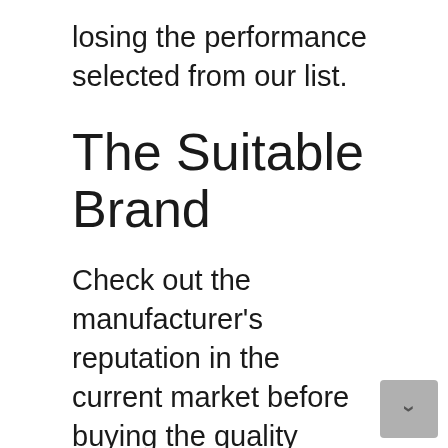losing the performance selected from our list.
The Suitable Brand
Check out the manufacturer's reputation in the current market before buying the quality rue21 perfume. The desired rue21 perfume will be efficient if you discover everything trustworthy and user-friendly. So, you can compare brands and read user reviews of the product for clarification. In this way, you may also learn the during and after-sales services.
Usually, high-performing products may cost you more money. But extra investment on that product may ensure you get the best